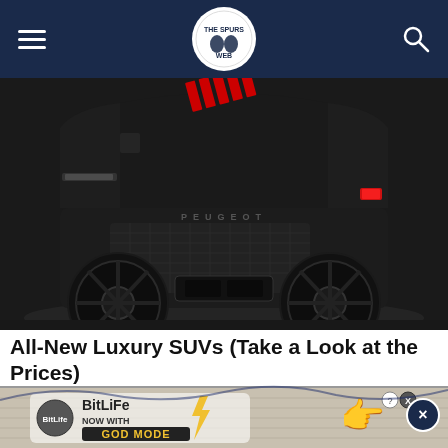The Spurs Web — navigation bar with hamburger menu, logo, and search icon
[Figure (photo): Rear view of a black Peugeot concept luxury SUV on a white background, showing carbon-fiber bumper, red accent lights on the wheel arch, dark alloy wheels, and PEUGEOT lettering across the rear]
All-New Luxury SUVs (Take a Look at the Prices)
Buying an SUV Doesn't Have to Be Expensive. Find Out More Today.
Crossover SUV | Search Ads | Sponsored
[Figure (screenshot): BitLife advertisement banner: 'NOW WITH GOD MODE' with illustrated hand pointing and BitLife logo, on a textured gray background]